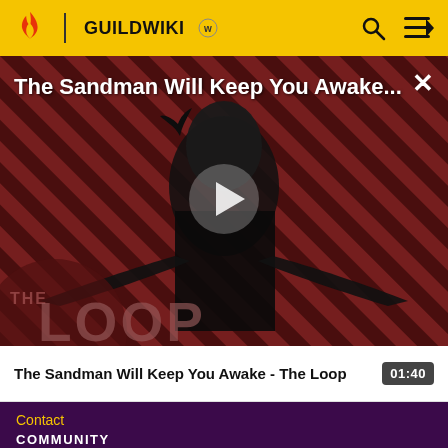GUILDWIKI
[Figure (screenshot): Video thumbnail for 'The Sandman Will Keep You Awake' showing a dark figure in black robes against a diagonal striped red/dark background with 'THE LOOP' logo overlay and a play button in the center. Title text reads: The Sandman Will Keep You Awake...]
The Sandman Will Keep You Awake - The Loop 01:40
Contact
COMMUNITY